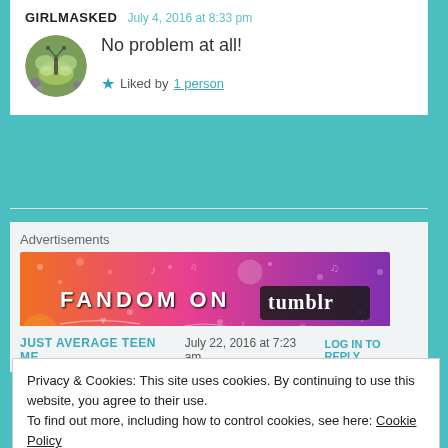GIRLMASKED   July 4, 2016 at 8:33 pm
No problem at all!
★ Liked by 1 person
Advertisements
[Figure (illustration): Fandom on Tumblr advertisement banner with orange-to-purple gradient and decorative icons]
JUST AVERAGE TEEN ME   July 22, 2016 at 7:23 am   LOG IN TO REPLY
Privacy & Cookies: This site uses cookies. By continuing to use this website, you agree to their use.
To find out more, including how to control cookies, see here: Cookie Policy
Close and accept